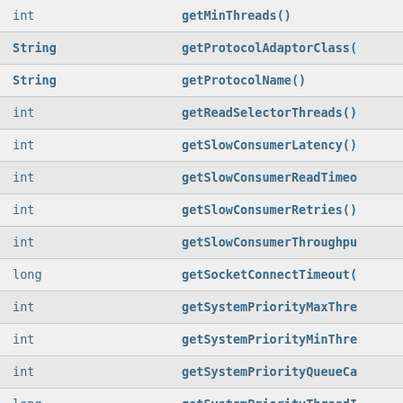| Return Type | Method |
| --- | --- |
| int | getMinThreads() |
| String | getProtocolAdaptorClass( |
| String | getProtocolName() |
| int | getReadSelectorThreads( |
| int | getSlowConsumerLatency() |
| int | getSlowConsumerReadTimeo |
| int | getSlowConsumerRetries() |
| int | getSlowConsumerThroughpu |
| long | getSocketConnectTimeout( |
| int | getSystemPriorityMaxThre |
| int | getSystemPriorityMinThre |
| int | getSystemPriorityQueueCa |
| long | getSystemPriorityThreadI |
| long | getThreadPoolIdleTimeout |
| int | getThreadsQueueSize() |